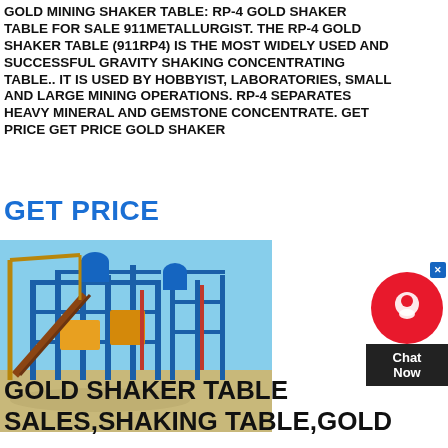GOLD MINING SHAKER TABLE: RP-4 GOLD SHAKER TABLE FOR SALE 911METALLURGIST. THE RP-4 GOLD SHAKER TABLE (911RP4) IS THE MOST WIDELY USED AND SUCCESSFUL GRAVITY SHAKING CONCENTRATING TABLE.. IT IS USED BY HOBBYIST, LABORATORIES, SMALL AND LARGE MINING OPERATIONS. RP-4 SEPARATES HEAVY MINERAL AND GEMSTONE CONCENTRATE. GET PRICE GET PRICE GOLD SHAKER
GET PRICE
[Figure (photo): Large industrial mining processing plant with blue steel frame structures, conveyor belts, crane, and yellow machinery on sandy ground under clear blue sky.]
GOLD SHAKER TABLE SALES,SHAKING TABLE,GOLD